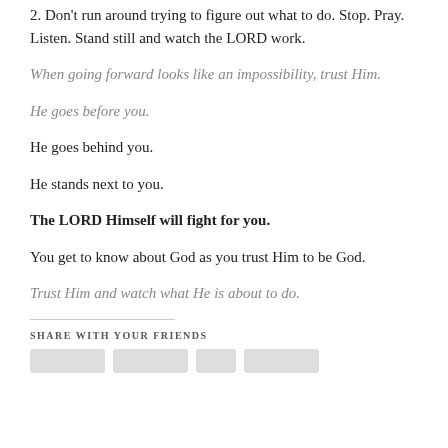2. Don't run around trying to figure out what to do. Stop. Pray. Listen. Stand still and watch the LORD work.
When going forward looks like an impossibility, trust Him.
He goes before you.
He goes behind you.
He stands next to you.
The LORD Himself will fight for you.
You get to know about God as you trust Him to be God.
Trust Him and watch what He is about to do.
SHARE WITH YOUR FRIENDS